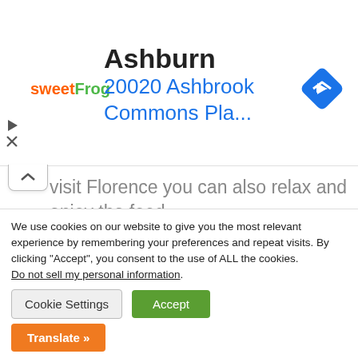[Figure (other): sweetFrog advertisement banner showing 'Ashburn' and '20020 Ashbrook Commons Pla...' with a blue navigation arrow icon and play/close controls]
visit Florence you can also relax and enjoy the food.
In Florence in fact there are a lot of good restaurants and you can have very good food. The salami, the pasta, and the meat are delicious and are even better with a good glass
We use cookies on our website to give you the most relevant experience by remembering your preferences and repeat visits. By clicking “Accept”, you consent to the use of ALL the cookies.
Do not sell my personal information.
Cookie Settings
Accept
Translate »